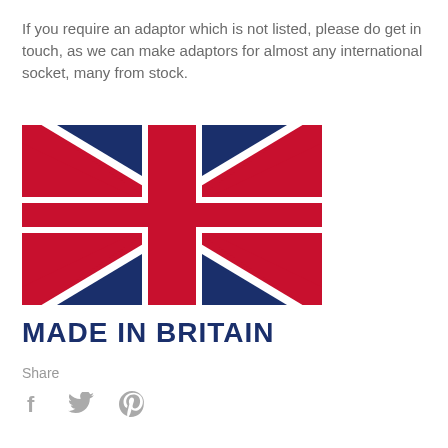If you require an adaptor which is not listed, please do get in touch, as we can make adaptors for almost any international socket, many from stock.
[Figure (illustration): Union Jack flag (UK flag) illustration with 'MADE IN BRITAIN' text below it in bold dark navy blue capital letters]
Share
[Figure (other): Social media share icons: Facebook (f), Twitter (bird), Pinterest (P)]